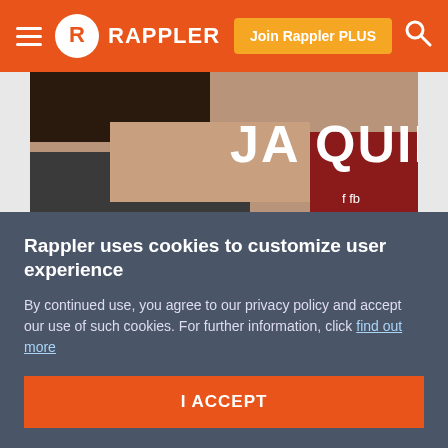Rappler
[Figure (photo): Partial photo of a person with text 'JA QUIN' and Facebook icon overlay]
[WATCH] Rappler Live Jam: Stef and Euge
Jun 20, 2020 - 5:52 PM
Get to know the R&B pop duo and their music as they perform on Live Jam
Rappler uses cookies to customize user experience
By continued use, you agree to our privacy policy and accept our use of such cookies. For further information, click find out more
I ACCEPT